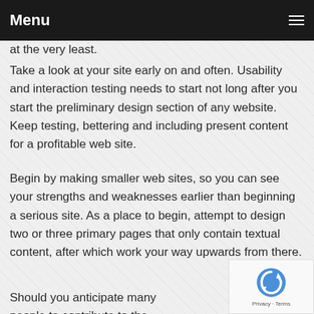Menu
at the very least.
Take a look at your site early on and often. Usability and interaction testing needs to start not long after you start the preliminary design section of any website. Keep testing, bettering and including present content for a profitable web site.
Begin by making smaller web sites, so you can see your strengths and weaknesses earlier than beginning a serious site. As a place to begin, attempt to design two or three primary pages that only contain textual content, after which work your way upwards from there.
Should you anticipate many people to contribute to the